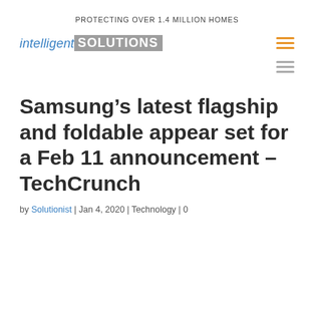PROTECTING OVER 1.4 MILLION HOMES
[Figure (logo): intelligent SOLUTIONS logo — 'intelligent' in blue italic, 'SOLUTIONS' in white on gray background]
Samsung’s latest flagship and foldable appear set for a Feb 11 announcement – TechCrunch
by Solutionist | Jan 4, 2020 | Technology | 0